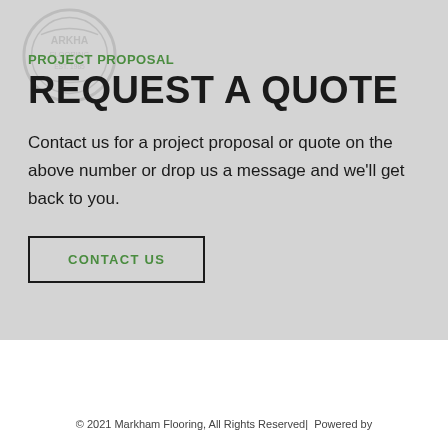PROJECT PROPOSAL
REQUEST A QUOTE
Contact us for a project proposal or quote on the above number or drop us a message and we'll get back to you.
CONTACT US
© 2021 Markham Flooring, All Rights Reserved|  Powered by